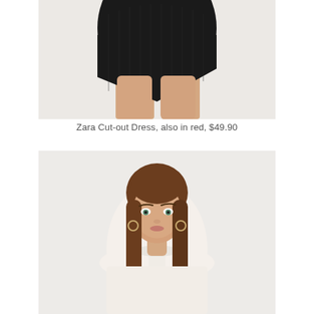[Figure (photo): Close-up of lower half of a black ribbed cut-out dress on a model, showing asymmetric hem and bare legs, against a light gray background.]
Zara Cut-out Dress, also in red, $49.90
[Figure (photo): A young female model with long brown hair wearing a white/cream sleeveless halter-neck dress, photographed from the waist up against a light gray background.]